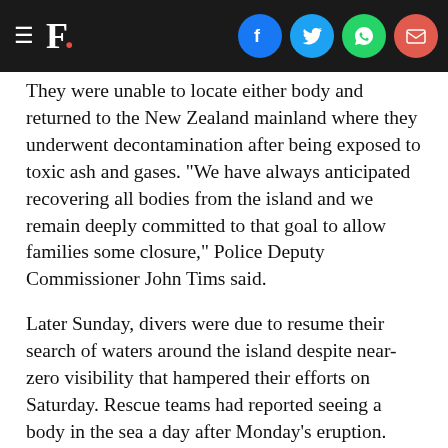F. [social icons: Facebook, Twitter, WhatsApp, Email]
They were unable to locate either body and returned to the New Zealand mainland where they underwent decontamination after being exposed to toxic ash and gases. "We have always anticipated recovering all bodies from the island and we remain deeply committed to that goal to allow families some closure," Police Deputy Commissioner John Tims said.
Later Sunday, divers were due to resume their search of waters around the island despite near-zero visibility that hampered their efforts on Saturday. Rescue teams had reported seeing a body in the sea a day after Monday's eruption.
Police have not included the two missings, believed to be a New Zealander tour guide and a boat captain who had taken tourists to the island, among the dead until their bodies are recovered. Police meanwhile released the names of five victims